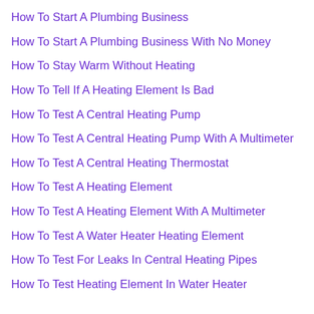How To Start A Plumbing Business
How To Start A Plumbing Business With No Money
How To Stay Warm Without Heating
How To Tell If A Heating Element Is Bad
How To Test A Central Heating Pump
How To Test A Central Heating Pump With A Multimeter
How To Test A Central Heating Thermostat
How To Test A Heating Element
How To Test A Heating Element With A Multimeter
How To Test A Water Heater Heating Element
How To Test For Leaks In Central Heating Pipes
How To Test Heating Element In Water Heater